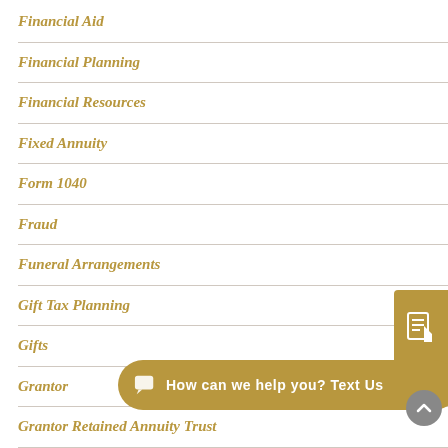Financial Aid
Financial Planning
Financial Resources
Fixed Annuity
Form 1040
Fraud
Funeral Arrangements
Gift Tax Planning
Gifts
Grantor
Grantor Retained Annuity Trust
Grantor Trust
Grants
[Figure (other): Floating document icon button (gold background)]
[Figure (other): Chat bubble: 'How can we help you? Text Us' with speech bubble icon]